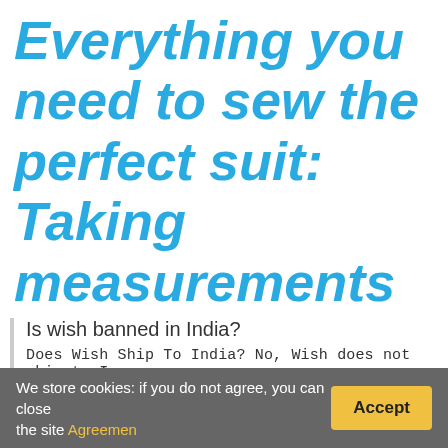Everything you need to sew the perfect suit: Taking measurements and dimensional tables
Is wish banned in India?
Does Wish Ship To India? No, Wish does not ship to I... shipped to India with zero headaches. It involves using a...
We store cookies: if you do not agree, you can close the site Agreemen